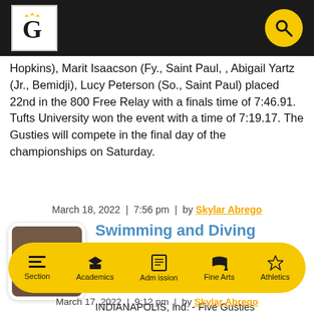Gustavus Adolphus College header with logo and search icon
Hopkins), Marit Isaacson (Fy., Saint Paul, , Abigail Yartz (Jr., Bemidji), Lucy Peterson (So., Saint Paul) placed 22nd in the 800 Free Relay with a finals time of 7:46.91. Tufts University won the event with a time of 7:19.17. The Gusties will compete in the final day of the championships on Saturday.
March 18, 2022  |  7:56 pm  |  by Skylar Abrego
Swimming and Diving Closes Out Day Two of NCAA Championships
INDIANAPOLIS, Ind. - Five Gusties
March 17, 2022  |  9:12 pm  |  by Skylar Abrego